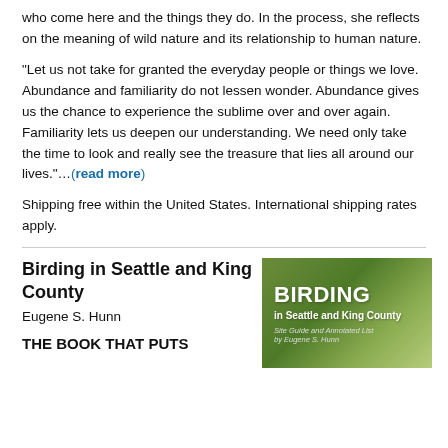who come here and the things they do. In the process, she reflects on the meaning of wild nature and its relationship to human nature.
“Let us not take for granted the everyday people or things we love.  Abundance and familiarity do not lessen wonder. Abundance gives us the chance to experience the sublime over and over again. Familiarity lets us deepen our understanding. We need only take the time to look and really see the treasure that lies all around our lives.”…(read more)
Shipping free within the United States. International shipping rates apply.
Birding in Seattle and King County
Eugene S. Hunn
THE BOOK THAT PUTS
[Figure (photo): Book cover of 'Birding in Seattle and King County' by Eugene S. Hunn, featuring a green gradient background with bold white text.]